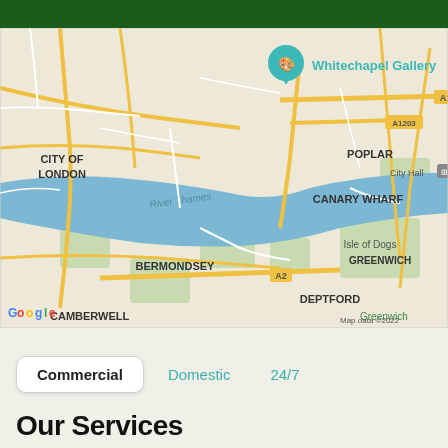[Figure (map): Google Maps screenshot showing central London area including City of London, Whitechapel Gallery pin, Canary Wharf, Bermondsey, Isle of Dogs, Greenwich, Deptford, POPLAR, River Thames with label A marker, roads A13, A1203, A2, and Google branding with Map data ©2022]
Commercial   Domestic   24/7
Our Services